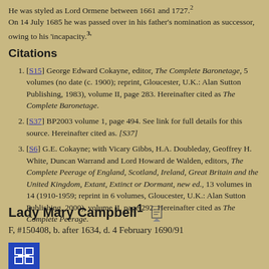He was styled as Lord Ormene between 1661 and 1727. On 14 July 1685 he was passed over in his father's nomination as successor, owing to his 'incapacity.'3
Citations
[S15] George Edward Cokayne, editor, The Complete Baronetage, 5 volumes (no date (c. 1900); reprint, Gloucester, U.K.: Alan Sutton Publishing, 1983), volume II, page 283. Hereinafter cited as The Complete Baronetage.
[S37] BP2003 volume 1, page 494. See link for full details for this source. Hereinafter cited as. [S37]
[S6] G.E. Cokayne; with Vicary Gibbs, H.A. Doubleday, Geoffrey H. White, Duncan Warrand and Lord Howard de Walden, editors, The Complete Peerage of England, Scotland, Ireland, Great Britain and the United Kingdom, Extant, Extinct or Dormant, new ed., 13 volumes in 14 (1910-1959; reprint in 6 volumes, Gloucester, U.K.: Alan Sutton Publishing, 2000), volume II, page 292. Hereinafter cited as The Complete Peerage.
Lady Mary Campbell1
F, #150408, b. after 1634, d. 4 February 1690/91